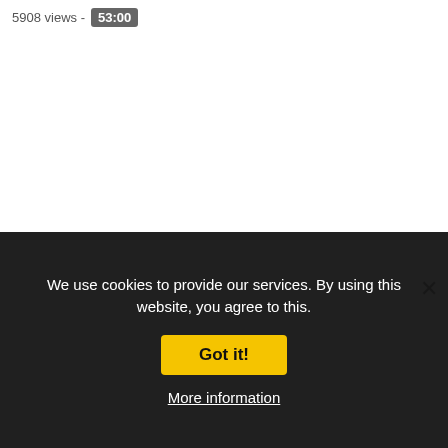5908 views - 53:00
[Figure (screenshot): Popup/modal box with light gray background and close X button]
We use cookies to provide our services. By using this website, you agree to this.
Got it!
More information